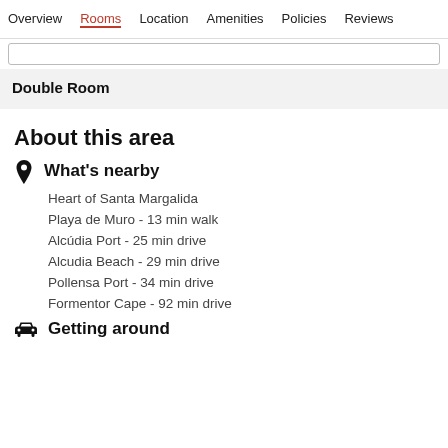Overview  Rooms  Location  Amenities  Policies  Reviews
Double Room
About this area
What's nearby
Heart of Santa Margalida
Playa de Muro - 13 min walk
Alcúdia Port - 25 min drive
Alcudia Beach - 29 min drive
Pollensa Port - 34 min drive
Formentor Cape - 92 min drive
Getting around